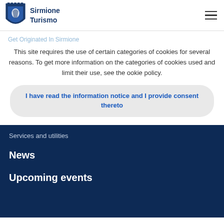[Figure (logo): Sirmione Turismo logo with shield emblem and text]
Get Originated In Sirmione
This site requires the use of certain categories of cookies for several reasons. To get more information on the categories of cookies used and limit their use, see the ookie policy.
I have read the information notice and I provide consent thereto
Services and utilities
News
Upcoming events